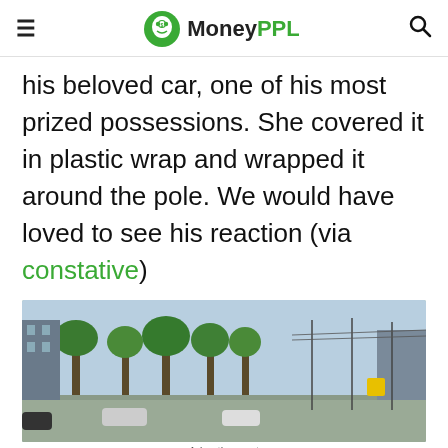MoneyPPL
his beloved car, one of his most prized possessions. She covered it in plastic wrap and wrapped it around the pole. We would have loved to see his reaction (via constative)
[Figure (photo): Outdoor street scene with trees, cars, and city buildings in the background under a bright sky.]
Advertisement
[Figure (photo): Advertisement banner: two women wearing sunglasses on an orange background. Text reads 'Sunglasses for the Make — TIMELESS STYLES, UNMATCHED QUALITY — SHOP NOW']